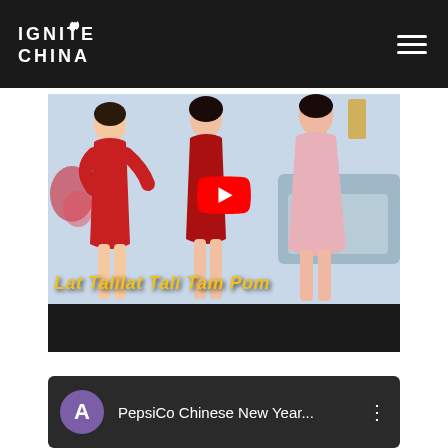IGNITE CHINA
[Figure (screenshot): YouTube video thumbnail showing three women in Chinese-style dresses (two in red, one in pink) in a decorated room. A large YouTube play button is overlaid in the center. Gold italic text reads 'Lat Talilat Tali Tam Pom' at the bottom of the video.]
[Figure (screenshot): YouTube video card with purple avatar circle showing letter 'A', followed by title 'PepsiCo Chinese New Year...' and a three-dot menu icon, on a dark background.]